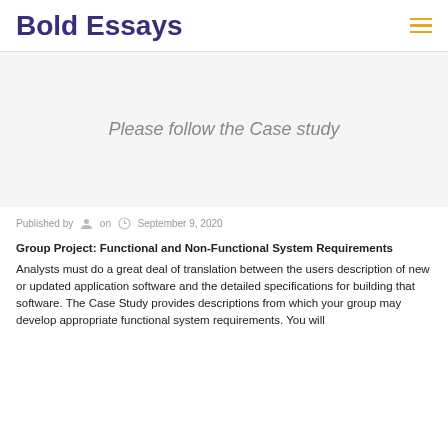Bold Essays
Please follow the Case study
Published by  on  September 9, 2020
Group Project: Functional and Non-Functional System Requirements
Analysts must do a great deal of translation between the users description of new or updated application software and the detailed specifications for building that software. The Case Study provides descriptions from which your group may develop appropriate functional system requirements. You will